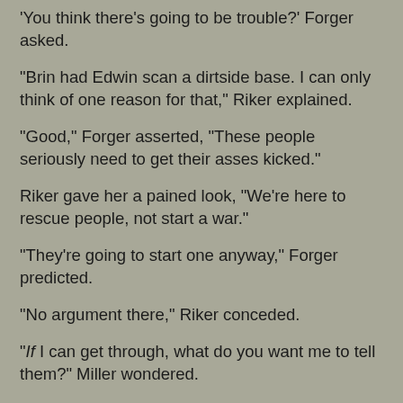'You think there's going to be trouble?' Forger asked.
"Brin had Edwin scan a dirtside base. I can only think of one reason for that," Riker explained.
"Good," Forger asserted, "These people seriously need to get their asses kicked."
Riker gave her a pained look, "We're here to rescue people, not start a war."
"They're going to start one anyway," Forger predicted.
"No argument there," Riker conceded.
"If I can get through, what do you want me to tell them?" Miller wondered.
"Just tell them to stand by. We'll be sending over details shortly," Riker ordered.
"You're expecting Macen to call," Forger surmised.
"If he's going to be successful he's going to need our support so he'll have to transmit his requirements," Riker explained.